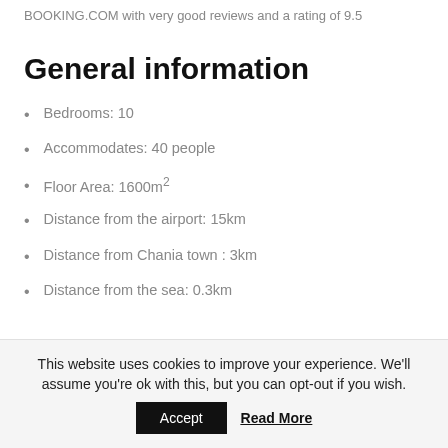BOOKING.COM with very good reviews and a rating of 9.5
General information
Bedrooms: 10
Accommodates: 40 people
Floor Area: 1600m²
Distance from the airport: 15km
Distance from Chania town : 3km
Distance from the sea: 0.3km
This website uses cookies to improve your experience. We'll assume you're ok with this, but you can opt-out if you wish.
Accept | Read More